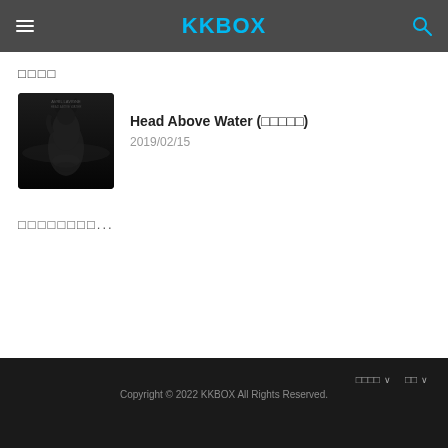KKBOX
□□□□
[Figure (photo): Album cover for Head Above Water by Avril Lavigne — dark monochrome image showing a figure reflected in water]
Head Above Water (□□□□□)
2019/02/15
□□□□□□□□...
□□□□ ∨   □□ ∨
Copyright © 2022 KKBOX All Rights Reserved.